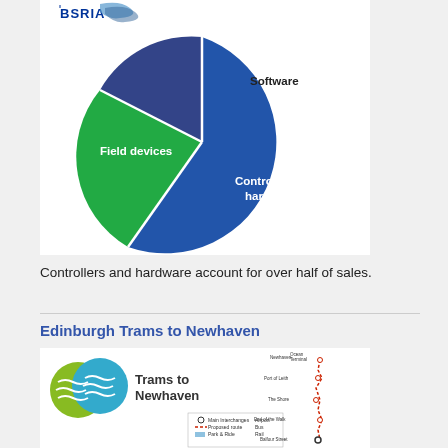[Figure (pie-chart): BSRIA sales breakdown]
Controllers and hardware account for over half of sales.
Edinburgh Trams to Newhaven
[Figure (map): Edinburgh Trams to Newhaven route map showing proposed tram route with stops including Newhaven, Ocean Terminal, Port of Leith, The Shore, End of the Walk, Balfour Street. Includes legend showing Main Interchanges, Proposed route, Park & Ride, Airport, Bus, Rail.]